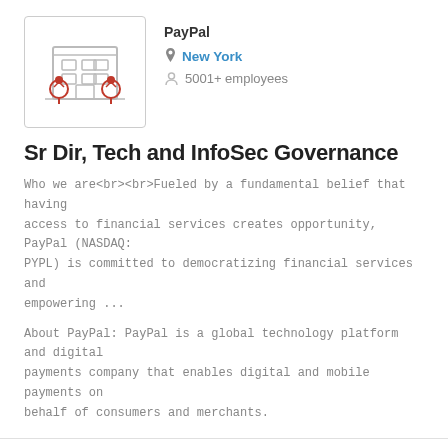[Figure (illustration): PayPal company logo illustration: a building/office icon with red tree decorations, gray lines]
PayPal
New York
5001+ employees
Sr Dir, Tech and InfoSec Governance
Who we are<br><br>Fueled by a fundamental belief that having access to financial services creates opportunity, PayPal (NASDAQ: PYPL) is committed to democratizing financial services and empowering ...
About PayPal: PayPal is a global technology platform and digital payments company that enables digital and mobile payments on behalf of consumers and merchants.
[Figure (illustration): PayPal company logo illustration: a document/list icon with horizontal lines]
PayPal
Chicago